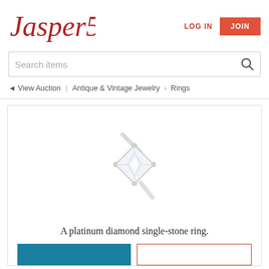[Figure (logo): Jasper52 logo in red cursive/handwritten font]
LOG IN
JOIN
Search items
◄ View Auction  |  Antique & Vintage Jewelry  >  Rings
[Figure (photo): A platinum diamond single-stone ring on white background, princess cut diamond in platinum setting]
A platinum diamond single-stone ring.
[Figure (other): Blue button (bid/buy) and red-outlined button at the bottom]